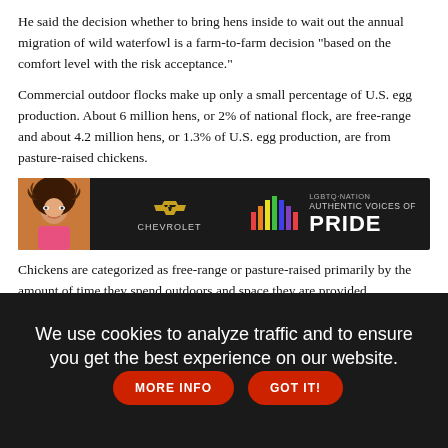He said the decision whether to bring hens inside to wait out the annual migration of wild waterfowl is a farm-to-farm decision "based on the comfort level with the risk acceptance."
Commercial outdoor flocks make up only a small percentage of U.S. egg production. About 6 million hens, or 2% of national flock, are free-range and about 4.2 million hens, or 1.3% of U.S. egg production, are from pasture-raised chickens.
[Figure (photo): Advertisement banner for Chevrolet and LGBTQ Nation 'Authentic Voices of Pride' campaign. Dark background with a person with large curly hair on the left, Chevrolet bowtie logo in center-left, colorful vertical bars, and LGBTQ Nation branding on the right.]
Chickens are categorized as free-range or pasture-raised primarily by the amount of time they spend outdoors and space they are provided.
Free-range chickens typically must have at least 21.8 square feet (2 square meters) of roaming space outdoors and remain out until temperatures drop below around 30 degrees Fahrenheit (minus 1
We use cookies to analyze traffic and to ensure you get the best experience on our website.